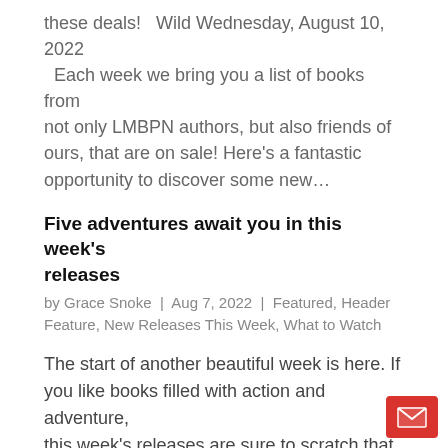these deals!   Wild Wednesday, August 10, 2022   Each week we bring you a list of books from not only LMBPN authors, but also friends of ours, that are on sale! Here's a fantastic opportunity to discover some new…
Five adventures await you in this week's releases
by Grace Snoke | Aug 7, 2022 | Featured, Header Feature, New Releases This Week, What to Watch
The start of another beautiful week is here. If you like books filled with action and adventure, this week's releases are sure to scratch that itch. There are a bunch of great stories continuing with this week's new releases! In addition to the new releases this week,…